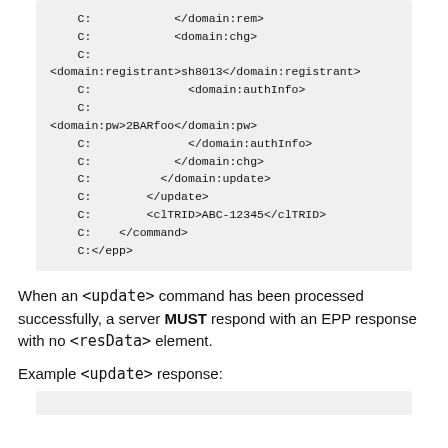C:            </domain:rem>
    C:            <domain:chg>
    C:
<domain:registrant>sh8013</domain:registrant>
    C:              <domain:authInfo>
    C:
<domain:pw>2BARfoo</domain:pw>
    C:              </domain:authInfo>
    C:            </domain:chg>
    C:          </domain:update>
    C:        </update>
    C:        <clTRID>ABC-12345</clTRID>
    C:    </command>
    C:</epp>
When an <update> command has been processed successfully, a server MUST respond with an EPP response with no <resData> element.
Example <update> response: